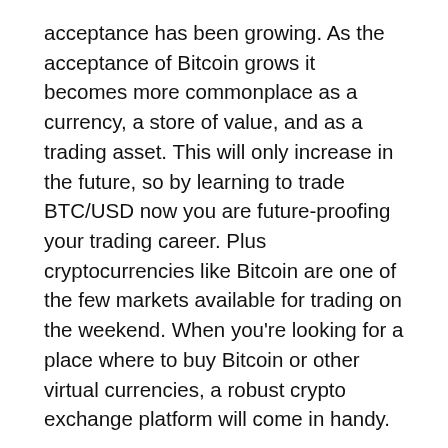acceptance has been growing. As the acceptance of Bitcoin grows it becomes more commonplace as a currency, a store of value, and as a trading asset. This will only increase in the future, so by learning to trade BTC/USD now you are future-proofing your trading career. Plus cryptocurrencies like Bitcoin are one of the few markets available for trading on the weekend. When you're looking for a place where to buy Bitcoin or other virtual currencies, a robust crypto exchange platform will come in handy.
Find A Market To Trade
Margin Trading Trade digital assets with